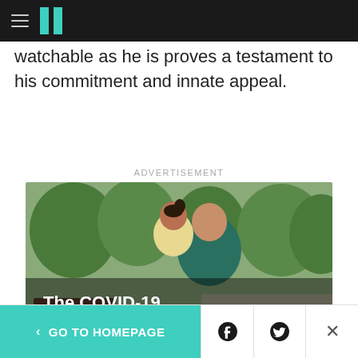HuffPost navigation header with hamburger menu and logo
watchable as he is proves a testament to his commitment and innate appeal.
ADVERTISEMENT
[Figure (photo): Advertisement photo showing a smiling woman holding a smiling toddler outdoors in a park setting. Overlaid text reads: 'The COVID-19 vaccines are here for back to school']
< GO TO HOMEPAGE | Facebook share | Twitter share | Close